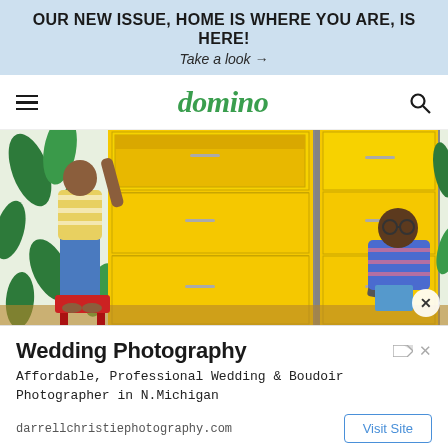OUR NEW ISSUE, HOME IS WHERE YOU ARE, IS HERE!
Take a look →
domino
[Figure (photo): Two children in front of a large yellow dresser with tropical leaf wallpaper. One child stands on a red stool reaching into an open drawer; the other sits on the floor holding a book and looking up.]
Wedding Photography
Affordable, Professional Wedding & Boudoir Photographer in N.Michigan
darrellchristiephotography.com